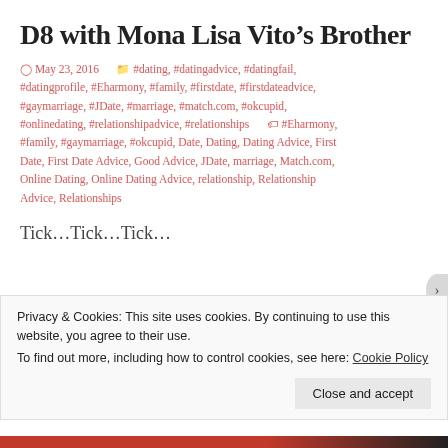D8 with Mona Lisa Vito’s Brother
May 23, 2016   #dating, #datingadvice, #datingfail, #datingprofile, #Eharmony, #family, #firstdate, #firstdateadvice, #gaymarriage, #JDate, #marriage, #match.com, #okcupid, #onlinedating, #relationshipadvice, #relationships   #Eharmony, #family, #gaymarriage, #okcupid, Date, Dating, Dating Advice, First Date, First Date Advice, Good Advice, JDate, marriage, Match.com, Online Dating, Online Dating Advice, relationship, Relationship Advice, Relationships
Tick…Tick…Tick…
Privacy & Cookies: This site uses cookies. By continuing to use this website, you agree to their use. To find out more, including how to control cookies, see here: Cookie Policy